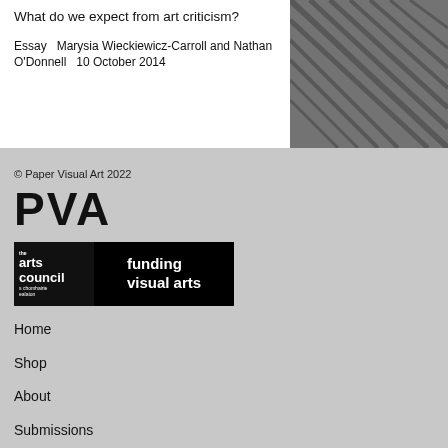What do we expect from art criticism? Essay  Marysia Wieckiewicz-Carroll and Nathan O'Donnell  10 October 2014
[Figure (photo): Dark metallic or architectural surface with diagonal lines, shown in grayscale]
© Paper Visual Art 2022
PVA
[Figure (logo): Arts Council / s chomhairie ealaíon logo on the left in black, and 'funding visual arts' text on the right in black background]
Home
Shop
About
Submissions